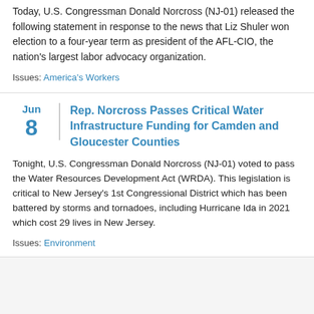Today, U.S. Congressman Donald Norcross (NJ-01) released the following statement in response to the news that Liz Shuler won election to a four-year term as president of the AFL-CIO, the nation's largest labor advocacy organization.
Issues: America's Workers
Rep. Norcross Passes Critical Water Infrastructure Funding for Camden and Gloucester Counties
Tonight, U.S. Congressman Donald Norcross (NJ-01) voted to pass the Water Resources Development Act (WRDA). This legislation is critical to New Jersey's 1st Congressional District which has been battered by storms and tornadoes, including Hurricane Ida in 2021 which cost 29 lives in New Jersey.
Issues: Environment